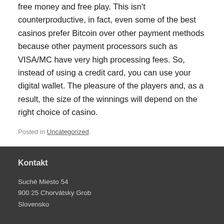free money and free play. This isn't counterproductive, in fact, even some of the best casinos prefer Bitcoin over other payment methods because other payment processors such as VISA/MC have very high processing fees. So, instead of using a credit card, you can use your digital wallet. The pleasure of the players and, as a result, the size of the winnings will depend on the right choice of casino.
Posted in Uncategorized.
Kontakt
Suché Miesto 54
900 25 Chorvátsky Grob
Slovensko